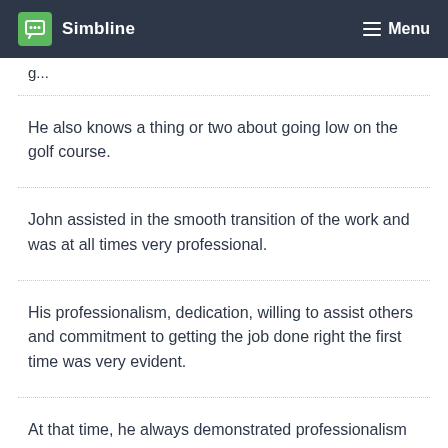Simbline  Menu
g...
He also knows a thing or two about going low on the golf course.
John assisted in the smooth transition of the work and was at all times very professional.
His professionalism, dedication, willing to assist others and commitment to getting the job done right the first time was very evident.
At that time, he always demonstrated professionalism to the highest degree and was always willing to assist in whatever way he could.